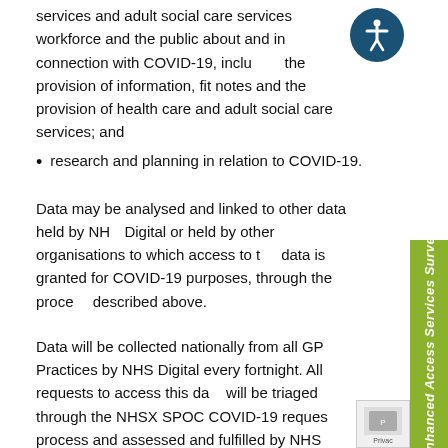services and adult social care services workforce and the public about and in connection with COVID-19, including the provision of information, fit notes and the provision of health care and adult social care services; and
research and planning in relation to COVID-19.
Data may be analysed and linked to other data held by NHS Digital or held by other organisations to which access to the data is granted for COVID-19 purposes, through the process described above.
Data will be collected nationally from all GP Practices by NHS Digital every fortnight. All requests to access this data will be triaged through the NHSX SPOC COVID-19 request process and assessed and fulfilled by NHS Digital through DARS. This will significantly reduce the burden on General Practice at a time when demand on resources is high, enabling General Practice to focus on delivering health and support to patients. It will also reduce compliance